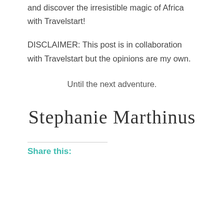and discover the irresistible magic of Africa with Travelstart!
DISCLAIMER: This post is in collaboration with Travelstart but the opinions are my own.
Until the next adventure.
[Figure (illustration): Handwritten cursive signature reading 'Stephanie Marthinus']
Share this: